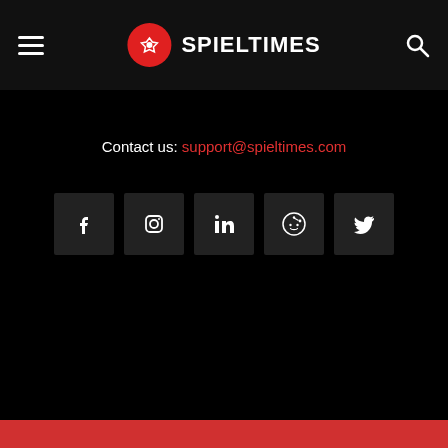SPIELTIMES — navigation header with hamburger menu, logo, and search icon
Contact us: support@spieltimes.com
[Figure (other): Social media icon buttons: Facebook, Instagram, LinkedIn, Reddit, Twitter]
About   Privacy   Contact   Cookie Policy   Terms & conditions
® Spiel Times is a Registered Trademark.
[Figure (infographic): Advertisement widget: Save Up to 65%]
[Figure (other): Bottom share bar with WhatsApp, Reddit, chain-link, Twitter, Facebook, plus buttons]